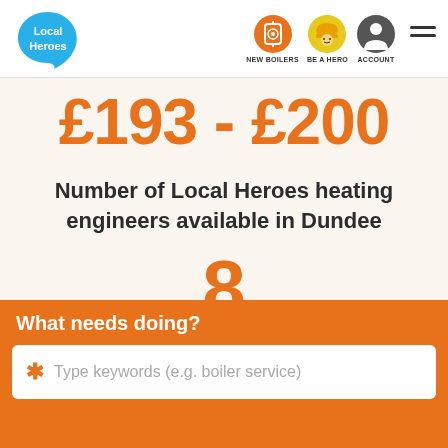[Figure (logo): Local Heroes logo – blue teardrop shape with white text 'Local Heroes']
[Figure (screenshot): Navigation bar with icons: NEW BOILERS (boiler icon), BE A HERO (hard-hat person icon), ACCOUNT (person silhouette icon), and hamburger menu]
Dundee
£193 - £200
Number of Local Heroes heating engineers available in Dundee
8
What needs doing?
Type keywords (e.g. boiler service)